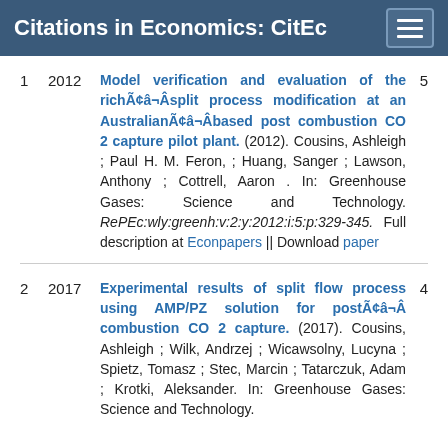Citations in Economics: CitEc
1  2012  Model verification and evaluation of the richÃ¢â€¬Âsplit process modification at an AustralianÃ¢â€¬Âbased post combustion CO 2 capture pilot plant. (2012). Cousins, Ashleigh ; Paul H. M. Feron, ; Huang, Sanger ; Lawson, Anthony ; Cottrell, Aaron . In: Greenhouse Gases: Science and Technology. RePEc:wly:greenh:v:2:y:2012:i:5:p:329-345. Full description at Econpapers || Download paper  5
2  2017  Experimental results of split flow process using AMP/PZ solution for postÃ¢â€¬Âcombustion CO 2 capture. (2017). Cousins, Ashleigh ; Wilk, Andrzej ; Wicawsolny, Lucyna ; Spietz, Tomasz ; Stec, Marcin ; Tatarczuk, Adam ; Krotki, Aleksander. In: Greenhouse Gases: Science and Technology.  4